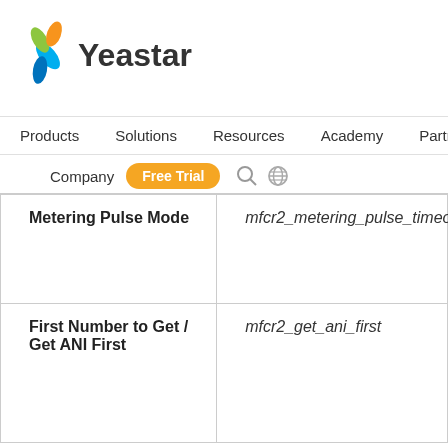[Figure (logo): Yeastar company logo with colorful leaf/petal icon and 'Yeastar' text]
Products   Solutions   Resources   Academy   Partners
Company  Free Trial
| Metering Pulse Mode | mfcr2_metering_pulse_timeout |
| First Number to Get / Get ANI First | mfcr2_get_ani_first |